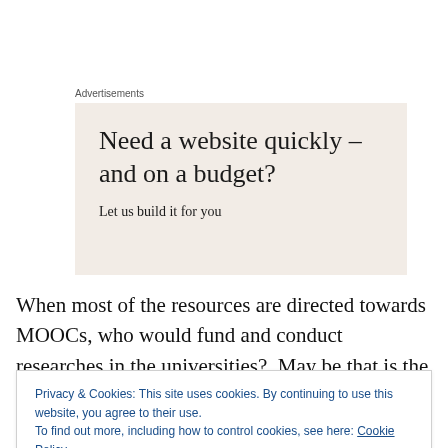Advertisements
[Figure (other): Advertisement box with beige background. Headline: 'Need a website quickly – and on a budget?' Subtext: 'Let us build it for you']
When most of the resources are directed towards MOOCs, who would fund and conduct researches in the universities?  May be that is the downside of MOOCs on
Privacy & Cookies: This site uses cookies. By continuing to use this website, you agree to their use.
To find out more, including how to control cookies, see here: Cookie Policy
Close and accept
challenged by innovative, disruptive, though instructivist